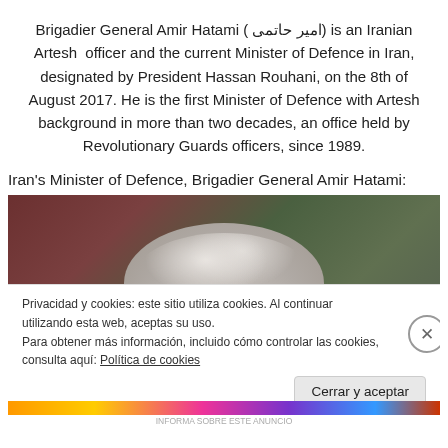Brigadier General Amir Hatami ( امیر حاتمی) is an Iranian Artesh officer and the current Minister of Defence in Iran, designated by President Hassan Rouhani, on the 8th of August 2017. He is the first Minister of Defence with Artesh background in more than two decades, an office held by Revolutionary Guards officers, since 1989.
Iran's Minister of Defence, Brigadier General Amir Hatami:
[Figure (photo): Photo of Brigadier General Amir Hatami, showing top of head with gray/white hair, against a dark reddish-green background. A cookie consent banner overlays the bottom portion of the image with Spanish text about privacy and cookies, a close button, and a 'Cerrar y aceptar' button.]